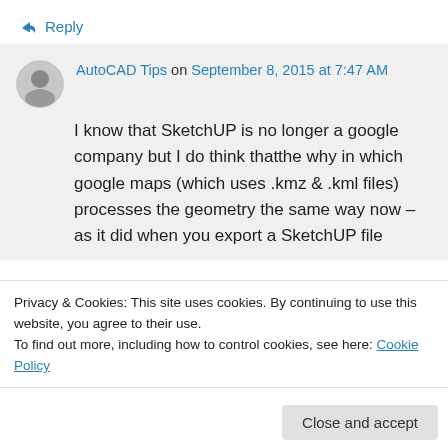↳ Reply
AutoCAD Tips on September 8, 2015 at 7:47 AM
I know that SketchUP is no longer a google company but I do think thatthe why in which google maps (which uses .kmz & .kml files) processes the geometry the same way now – as it did when you export a SketchUP file
Privacy & Cookies: This site uses cookies. By continuing to use this website, you agree to their use.
To find out more, including how to control cookies, see here: Cookie Policy
Close and accept